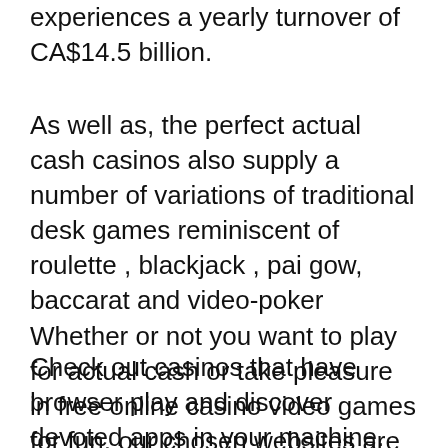experiences a yearly turnover of CA$14.5 billion.
As well as, the perfect actual cash casinos also supply a number of variations of traditional desk games reminiscent of roulette , blackjack , pai gow, baccarat and video-poker Whether or not you want to play for actual cash or take pleasure in free online casino video games for fun, our chosen websites are the most effective and most secure place to begin. Amount of casinos and bonuses for the highest 7 markets.
Check out casinos that have browser play and discover devoted apps in your machine. Because software builders reminiscent of Microgaming construct sure provisions into